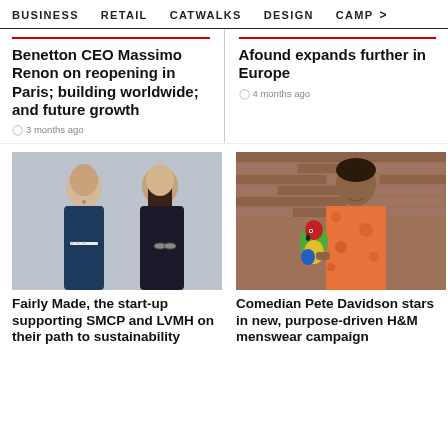BUSINESS  RETAIL  CATWALKS  DESIGN  CAMP >
Benetton CEO Massimo Renon on reopening in Paris; building worldwide; and future growth
3 months ago
Afound expands further in Europe
4 months ago
[Figure (photo): Two women standing together, both wearing dark outfits, outdoors in front of a stone wall]
[Figure (photo): A man in an orange floral shirt holding a colorful parrot, standing in front of a brick wall]
Fairly Made, the start-up supporting SMCP and LVMH on their path to sustainability
Comedian Pete Davidson stars in new, purpose-driven H&M menswear campaign